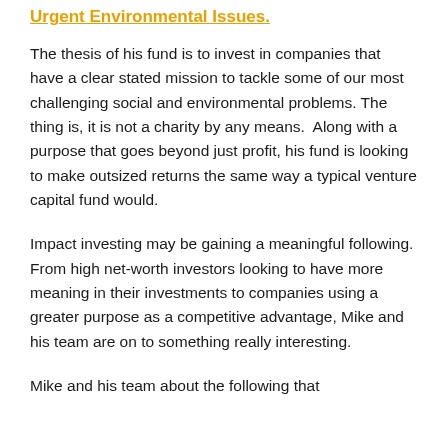Urgent Environmental Issues.
The thesis of his fund is to invest in companies that have a clear stated mission to tackle some of our most challenging social and environmental problems. The thing is, it is not a charity by any means.  Along with a purpose that goes beyond just profit, his fund is looking to make outsized returns the same way a typical venture capital fund would.
Impact investing may be gaining a meaningful following. From high net-worth investors looking to have more meaning in their investments to companies using a greater purpose as a competitive advantage, Mike and his team are on to something really interesting.
Mike and his team about the following that…